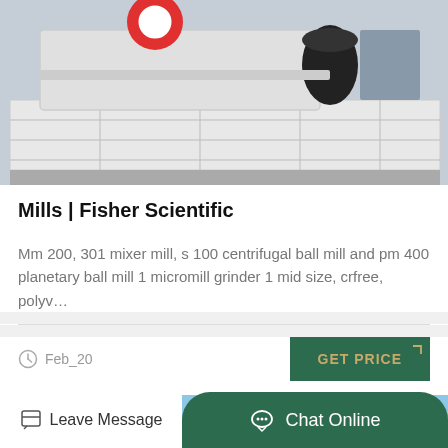[Figure (photo): Industrial mill or crusher machine on a white pallet, viewed from above at an angle. Red and white machinery components visible.]
Mills | Fisher Scientific
Mm 200, 301 mixer mill, s 100 centrifugal ball mill and pm 400 planetary ball mill 1 micromill grinder 1 mid size, crfree, polyv…
Feb_20
GET PRICE
[Figure (photo): Person in a hard hat standing on top of a large blue industrial machine or mill equipment against a blue sky background.]
Leave Message
Chat Online